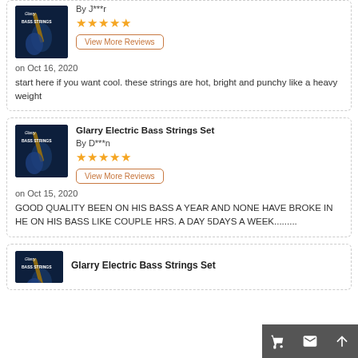[Figure (photo): Product image of Glarry Bass Strings Set - dark blue background with a bass guitar]
By J***r
★★★★★
View More Reviews
on Oct 16, 2020
start here if you want cool. these strings are hot, bright and punchy like a heavy weight
Glarry Electric Bass Strings Set
[Figure (photo): Product image of Glarry Electric Bass Strings Set - dark blue background with a bass guitar]
By D***n
★★★★★
View More Reviews
on Oct 15, 2020
GOOD QUALITY BEEN ON HIS BASS A YEAR AND NONE HAVE BROKE IN HE ON HIS BASS LIKE COUPLE HRS. A DAY 5DAYS A WEEK..........
Glarry Electric Bass Strings Set
[Figure (photo): Product image of Glarry Electric Bass Strings Set - dark blue background with a bass guitar]